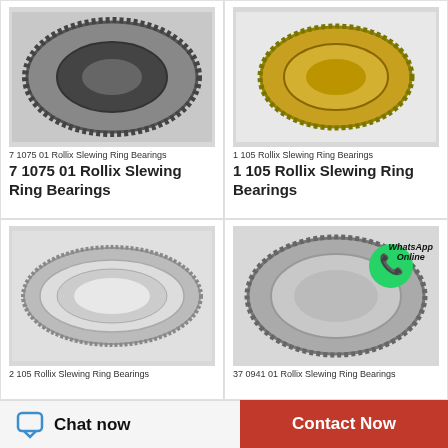[Figure (photo): Gray slewing ring bearing with gear teeth — 7 1075 01 Rollix Slewing Ring Bearings]
7 1075 01 Rollix Slewing Ring Bearings
7 1075 01 Rollix Slewing Ring Bearings
[Figure (photo): Gold/yellow-tinted slewing ring bearing — 1 105 Rollix Slewing Ring Bearings]
1 105 Rollix Slewing Ring Bearings
1 105 Rollix Slewing Ring Bearings
[Figure (photo): Silver/chrome flat slewing ring bearing — 2 105 Rollix Slewing Ring Bearings]
2 105 Rollix Slewing Ring Bearings
[Figure (photo): Silver slewing ring bearing with WhatsApp Online overlay — 37 0941 01 Rollix Slewing Ring Bearings]
37 0941 01 Rollix Slewing Ring Bearings
Chat now
Contact Now